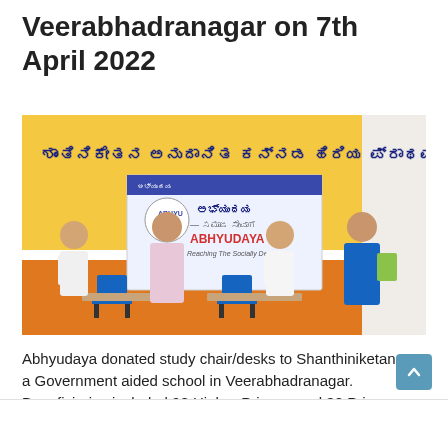Veerabhadranagar on 7th April 2022
[Figure (photo): Four people standing in front of a Shanthiniketan school building with an Abhyudaya banner. Two chairs and a table are visible. The building wall is painted yellow and orange with Kannada text.]
Abhyudaya donated study chair/desks to Shanthiniketan, a Government aided school in Veerabhadranagar. Beneficiaries included 98 Higher Primary and 30 Primary students. During the event, our volunteers Shri B N Kumaraswamy and Shri H R Vishwanath handed out the items to